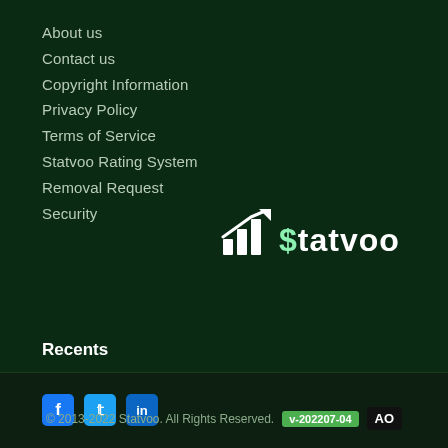About us
Contact us
Copyright Information
Privacy Policy
Terms of Service
Statvoo Rating System
Removal Request
Security
Recents
Recently Added Websites
Recently Updated Websites
Recently Searched Keywords
Domain List
[Figure (logo): Statvoo logo with bar chart icon and dollar sign]
© 2013-2022 Statvoo. All Rights Reserved. v-202207-04 AO